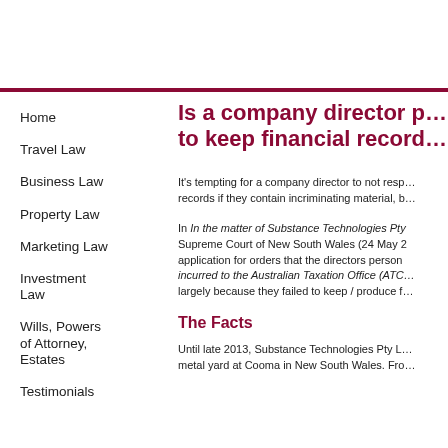Home
Travel Law
Business Law
Property Law
Marketing Law
Investment Law
Wills, Powers of Attorney, Estates
Testimonials
Is a company director personally liable to keep financial records?
It's tempting for a company director to not respond to a request to produce records if they contain incriminating material, but...
In In the matter of Substance Technologies Pty Ltd, the Supreme Court of New South Wales (24 May 2016) considered application for orders that the directors personally pay debts incurred to the Australian Taxation Office (ATO). They failed largely because they failed to keep / produce financial records.
The Facts
Until late 2013, Substance Technologies Pty Ltd operated a metal yard at Cooma in New South Wales. Fro...